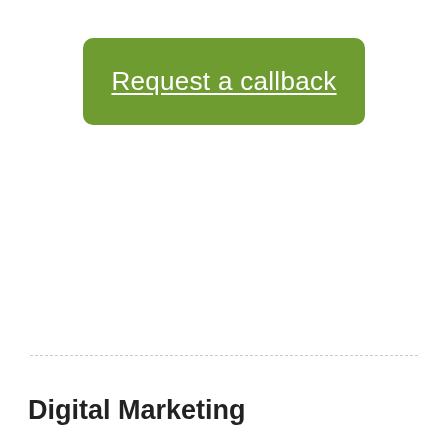[Figure (other): Green rounded rectangle button with white underlined text reading 'Request a callback']
Digital Marketing